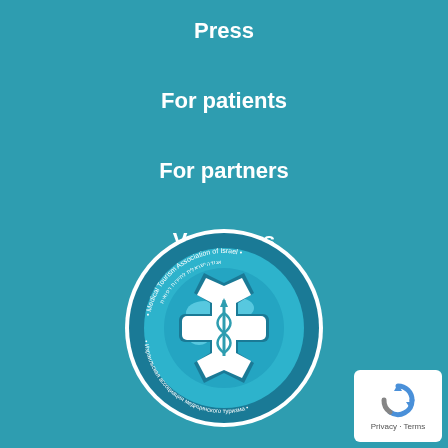Press
For patients
For partners
Vacations
Contacts
[Figure (logo): Medical Tourism Association of Israel logo — circular badge with Star of Life medical symbol, globe, text in Hebrew, Russian, and English]
[Figure (logo): reCAPTCHA privacy badge with 'Privacy · Terms' text]